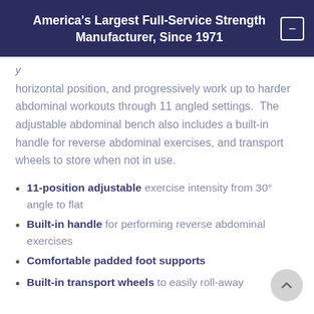America's Largest Full-Service Strength Manufacturer, Since 1971
horizontal position, and progressively work up to harder abdominal workouts through 11 angled settings.  The adjustable abdominal bench also includes a built-in handle for reverse abdominal exercises, and transport wheels to store when not in use.
11-position adjustable exercise intensity from 30° angle to flat
Built-in handle for performing reverse abdominal exercises
Comfortable padded foot supports
Built-in transport wheels to easily roll-away